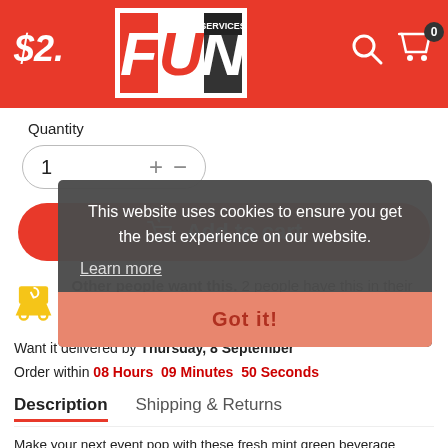$2. FUN SERVICES logo | search icon | cart icon 0
Quantity
1 + −
Add to cart
Other people want this. 2 people have this in their carts right now.
Want it delivered by Thursday, 8 September
Order within 08 Hours 09 Minutes 50 Seconds
Description   Shipping & Returns
This website uses cookies to ensure you get the best experience on our website.
Learn more
Got it!
Make your next event pop with these fresh mint green beverage napkins. These charming fresh mint green beverage napkins are 5"x5", 3-ply, and include a quantity